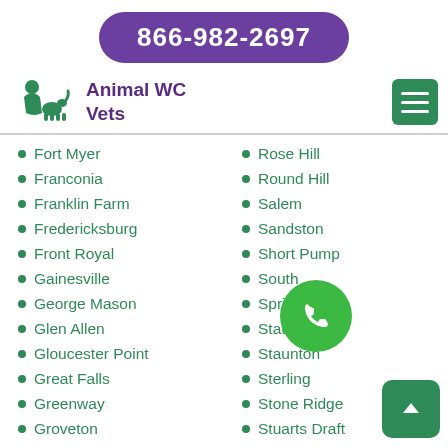866-982-2697
Animal WC Vets
Fort Myer
Franconia
Franklin Farm
Fredericksburg
Front Royal
Gainesville
George Mason
Glen Allen
Gloucester Point
Great Falls
Greenway
Groveton
Rose Hill
Round Hill
Salem
Sandston
Short Pump
South…
Spring…
State Farm
Staunton
Sterling
Stone Ridge
Stuarts Draft